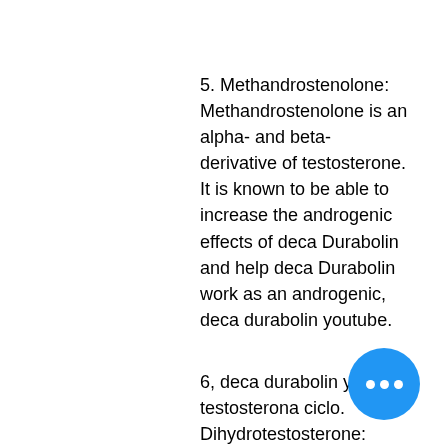5. Methandrostenolone: Methandrostenolone is an alpha- and beta-derivative of testosterone. It is known to be able to increase the androgenic effects of deca Durabolin and help deca Durabolin work as an androgenic, deca durabolin youtube.
6, deca durabolin y testosterona ciclo. Dihydrotestosterone: Dihydrotestosterone is a metabolite of testosterone and it can also provide a more potent androgenic effect because it has more androgen binding sites than testosterone. It is the main ingredient in the Deca Durabolin, deca durabolin steroid review.
7. Benzo's are one ingredient that is not listed above, but they have been reported to